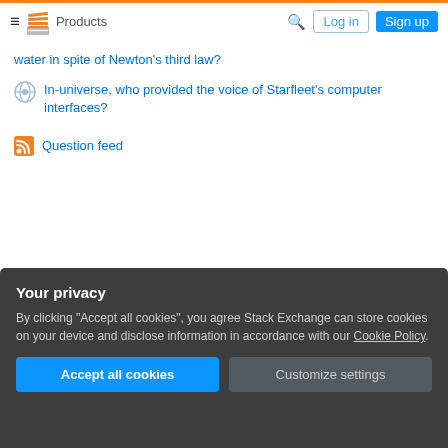Products  Log in  Sign up
water in spite of Newton's third law?
In-universe, who provided the voice of Starfleet's computer interfaces?
Question feed
STACK OVERFLOW
Questions  Help
PRODUCTS
Teams  Advertising  Collectives  Talent
COMPANY
Your privacy
By clicking "Accept all cookies", you agree Stack Exchange can store cookies on your device and disclose information in accordance with our Cookie Policy.
Accept all cookies  Customize settings